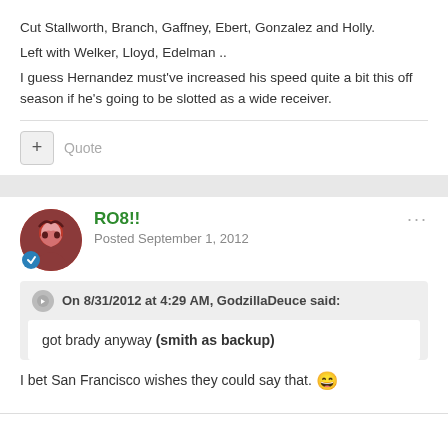Cut Stallworth, Branch, Gaffney, Ebert, Gonzalez and Holly.
Left with Welker, Lloyd, Edelman ..
I guess Hernandez must've increased his speed quite a bit this off season if he's going to be slotted as a wide receiver.
Quote
RO8!!
Posted September 1, 2012
On 8/31/2012 at 4:29 AM, GodzillaDeuce said:
got brady anyway (smith as backup)
I bet San Francisco wishes they could say that. 😄